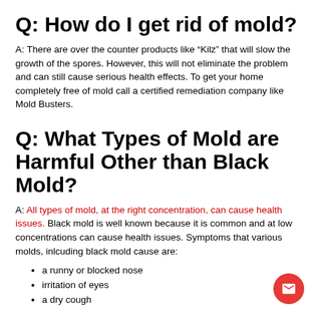Q: How do I get rid of mold?
A: There are over the counter products like “Kilz” that will slow the growth of the spores. However, this will not eliminate the problem and can still cause serious health effects. To get your home completely free of mold call a certified remediation company like Mold Busters.
Q: What Types of Mold are Harmful Other than Black Mold?
A: All types of mold, at the right concentration, can cause health issues. Black mold is well known because it is common and at low concentrations can cause health issues. Symptoms that various molds, inlcuding black mold cause are:
a runny or blocked nose
irritation of eyes
a dry cough